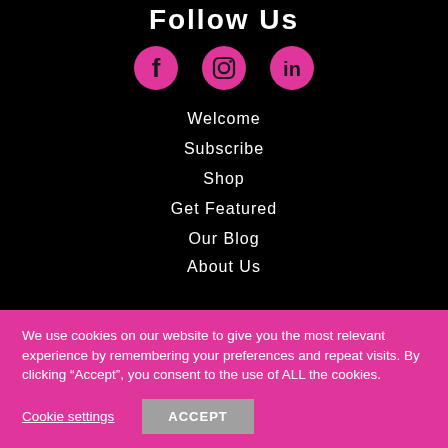Follow Us
[Figure (infographic): Three pink social media icons: Facebook, Instagram, LinkedIn]
Welcome
Subscribe
Shop
Get Featured
Our Blog
About Us
We use cookies on our website to give you the most relevant experience by remembering your preferences and repeat visits. By clicking “Accept”, you consent to the use of ALL the cookies.
Cookie settings
ACCEPT